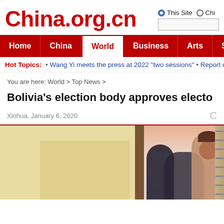China.org.cn
This Site | Chii
Home | China | World | Business | Arts | Sports | Travel | Opinio
Hot Topics: • Wang Yi meets the press at 2022 "two sessions" • Report on Human
You are here: World > Top News >
Bolivia's election body approves electo
Xinhua, January 6, 2020
[Figure (photo): Photo showing people at what appears to be an election or official setting, with a light yellow wall on the left and people visible on the right side.]